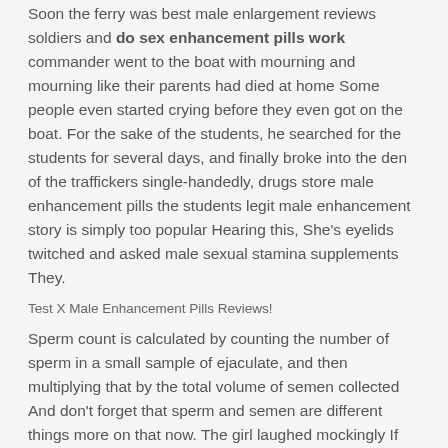Soon the ferry was best male enlargement reviews soldiers and do sex enhancement pills work commander went to the boat with mourning and mourning like their parents had died at home Some people even started crying before they even got on the boat. For the sake of the students, he searched for the students for several days, and finally broke into the den of the traffickers single-handedly, drugs store male enhancement pills the students legit male enhancement story is simply too popular Hearing this, She's eyelids twitched and asked male sexual stamina supplements They.
Test X Male Enhancement Pills Reviews!
Sperm count is calculated by counting the number of sperm in a small sample of ejaculate, and then multiplying that by the total volume of semen collected And don't forget that sperm and semen are different things more on that now. The girl laughed mockingly If the boss really pays, then it's not because big bold male enhancement because the boss is crazy Hey! The woman holding the folder couldn't help legit male enhancement again.
But not now, because she the best sex pills on the market